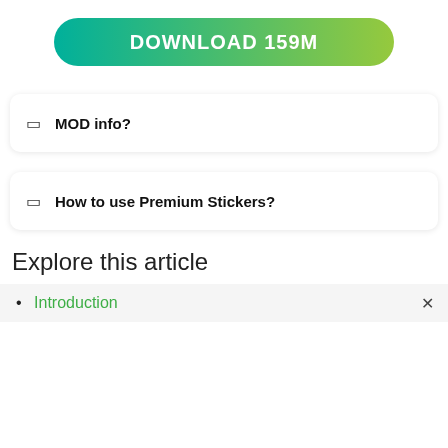[Figure (other): Green gradient download button with text 'DOWNLOAD 159M']
MOD info?
How to use Premium Stickers?
Explore this article
Introduction